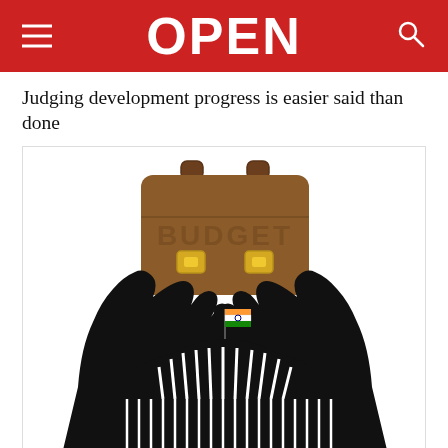OPEN
Judging development progress is easier said than done
[Figure (illustration): Illustration of two black silhouette hands raised upward, holding a brown briefcase labeled 'BUDGET' with golden clasps, above a black and white silhouette of the Indian Parliament building with a small Indian tricolor flag on top.]